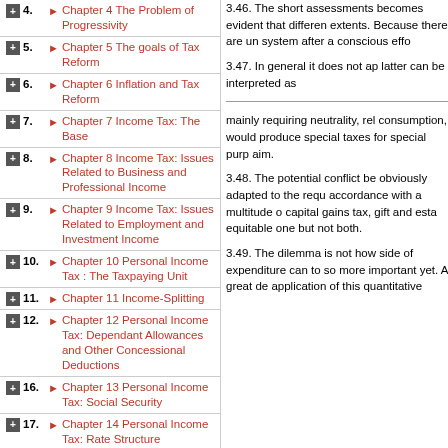4. Chapter 4 The Problem of Progressivity
5. Chapter 5 The goals of Tax Reform
6. Chapter 6 Inflation and Tax Reform
7. Chapter 7 Income Tax: The Base
8. Chapter 8 Income Tax: Issues Related to Business and Professional Income
9. Chapter 9 Income Tax: Issues Related to Employment and Investment Income
10. Chapter 10 Personal Income Tax : The Taxpaying Unit
11. Chapter 11 Income-Splitting
12. Chapter 12 Personal Income Tax: Dependant Allowances and Other Concessional Deductions
16. Chapter 13 Personal Income Tax: Social Security
17. Chapter 14 Personal Income Tax: Rate Structure
19. Chapter 15 Income
3.46. The short assessments becomes evident that different extents. Because there are un system after a conscious effo
3.47. In general it does not ap latter can be interpreted as
mainly requiring neutrality, rel consumption, would produce special taxes for special purp aim.
3.48. The potential conflict be obviously adapted to the requ accordance with a multitude o capital gains tax, gift and esta equitable one but not both.
3.49. The dilemma is not how side of expenditure can to so more important yet. A great de application of this quantitative